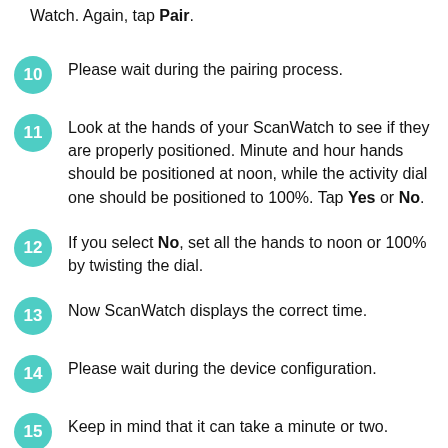Watch. Again, tap Pair.
10 Please wait during the pairing process.
11 Look at the hands of your ScanWatch to see if they are properly positioned. Minute and hour hands should be positioned at noon, while the activity dial one should be positioned to 100%. Tap Yes or No.
12 If you select No, set all the hands to noon or 100% by twisting the dial.
13 Now ScanWatch displays the correct time.
14 Please wait during the device configuration.
15 Keep in mind that it can take a minute or two.